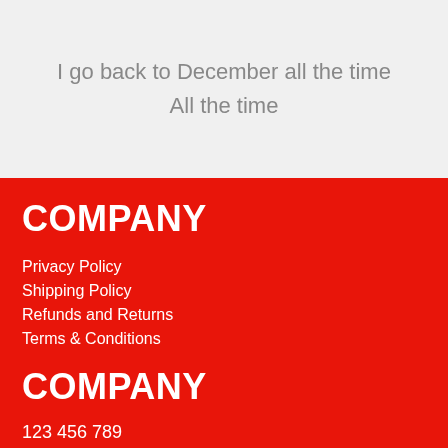I go back to December all the time
All the time
COMPANY
Privacy Policy
Shipping Policy
Refunds and Returns
Terms & Conditions
COMPANY
123 456 789
123 456 789
123 456 789